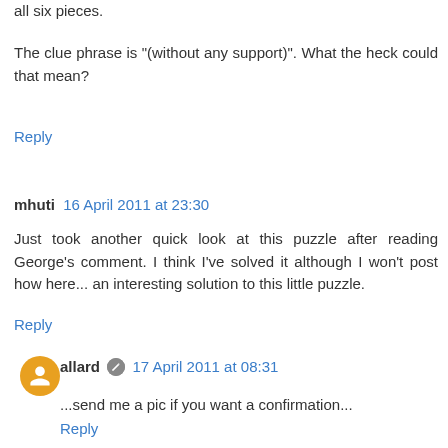all six pieces.
The clue phrase is "(without any support)". What the heck could that mean?
Reply
mhuti  16 April 2011 at 23:30
Just took another quick look at this puzzle after reading George's comment. I think I've solved it although I won't post how here... an interesting solution to this little puzzle.
Reply
allard  17 April 2011 at 08:31
...send me a pic if you want a confirmation...
Reply
Lisa  19 December 2011 at 14:20